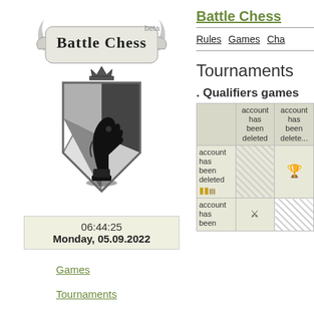[Figure (logo): Battle Chess beta logo with knight chess piece on shield and banner]
06:44:25
Monday, 05.09.2022
Games
Tournaments
Players
Battle Chess
Rules   Games   Cha...
Tournaments
. Qualifiers games
|  | account has been deleted | account has been deleted |
| --- | --- | --- |
| account has been deleted | (hatch) | (trophy icon) |
| account has been deleted | (sword icon) | (hatch) |